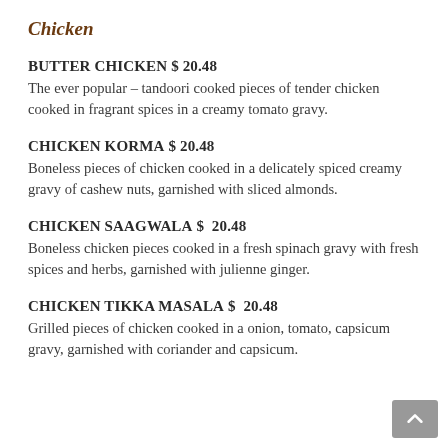Chicken
BUTTER CHICKEN $ 20.48
The ever popular – tandoori cooked pieces of tender chicken cooked in fragrant spices in a creamy tomato gravy.
CHICKEN KORMA $ 20.48
Boneless pieces of chicken cooked in a delicately spiced creamy gravy of cashew nuts, garnished with sliced almonds.
CHICKEN SAAGWALA $  20.48
Boneless chicken pieces cooked in a fresh spinach gravy with fresh spices and herbs, garnished with julienne ginger.
CHICKEN TIKKA MASALA $  20.48
Grilled pieces of chicken cooked in a onion, tomato, capsicum gravy, garnished with coriander and capsicum.